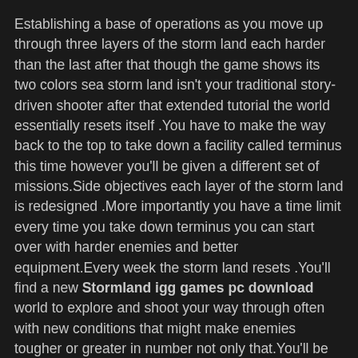Establishing a base of operations as you move up through three layers of the storm land each harder than the last after that though the game shows its two colors sea storm land isn't your traditional story-driven shooter after that extended tutorial the world essentially resets itself .You have to make the way back to the top to take down a facility called terminus this time however you'll be given a different set of missions.Side objectives each layer of the storm land is redesigned .More importantly you have a time limit every time you take down terminus you can start over with harder enemies and better equipment.Every week the storm land resets .You'll find a new Stormland igg games pc download world to explore and shoot your way through often with new conditions that might make enemies tougher or greater in number not only that.You'll be able to respect your upgrades each cycle in many cases that